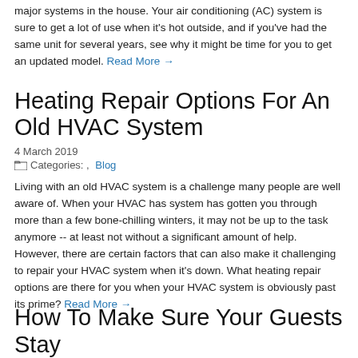major systems in the house. Your air conditioning (AC) system is sure to get a lot of use when it's hot outside, and if you've had the same unit for several years, see why it might be time for you to get an updated model. Read More →
Heating Repair Options For An Old HVAC System
4 March 2019
Categories: , Blog
Living with an old HVAC system is a challenge many people are well aware of. When your HVAC has system has gotten you through more than a few bone-chilling winters, it may not be up to the task anymore -- at least not without a significant amount of help. However, there are certain factors that can also make it challenging to repair your HVAC system when it's down. What heating repair options are there for you when your HVAC system is obviously past its prime? Read More →
How To Make Sure Your Guests Stay